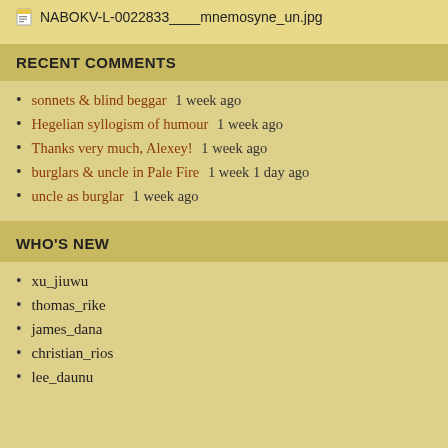NABOKV-L-0022833____mnemosyne_un.jpg
RECENT COMMENTS
sonnets & blind beggar 1 week ago
Hegelian syllogism of humour 1 week ago
Thanks very much, Alexey! 1 week ago
burglars & uncle in Pale Fire 1 week 1 day ago
uncle as burglar 1 week ago
WHO'S NEW
xu_jiuwu
thomas_rike
james_dana
christian_rios
lee_daunu